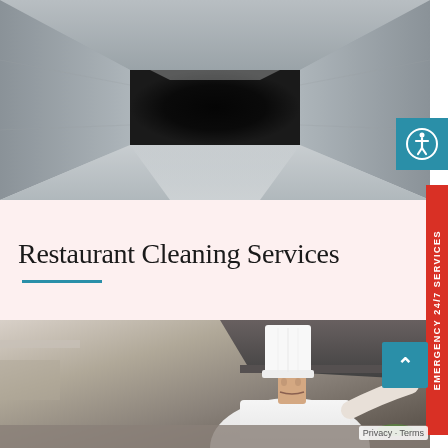[Figure (photo): Interior view of a metal ventilation duct looking toward a dark opening at the far end, stainless steel walls visible]
Restaurant Cleaning Services
[Figure (photo): A chef in white uniform and tall toque working in a commercial kitchen near a stainless steel hood vent]
[Figure (other): Accessibility icon button (blue square with wheelchair figure)]
EMERGENCY 24/7 SERVICES
Privacy - Terms